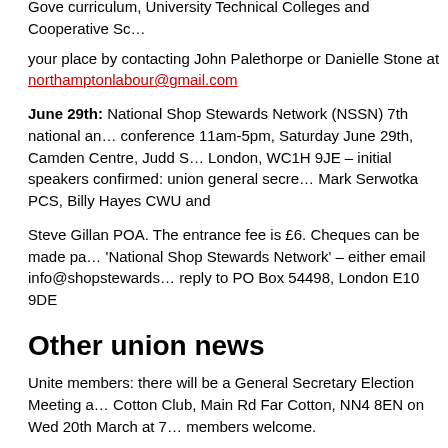Gove curriculum, University Technical Colleges and Cooperative Sc...
your place by contacting John Palethorpe or Danielle Stone at northamptonlabour@gmail.com
June 29th: National Shop Stewards Network (NSSN) 7th national annual conference 11am-5pm, Saturday June 29th, Camden Centre, Judd St, London, WC1H 9JE – initial speakers confirmed: union general secretaries Mark Serwotka PCS, Billy Hayes CWU and Steve Gillan POA. The entrance fee is £6. Cheques can be made payable to 'National Shop Stewards Network' – either email info@shopstewards... or reply to PO Box 54498, London E10 9DE
Other union news
Unite members: there will be a General Secretary Election Meeting at Far Cotton Club, Main Rd Far Cotton, NN4 8EN on Wed 20th March at 7... members welcome.
The FBU is campaigning against the Public Public Sector Pensions B...